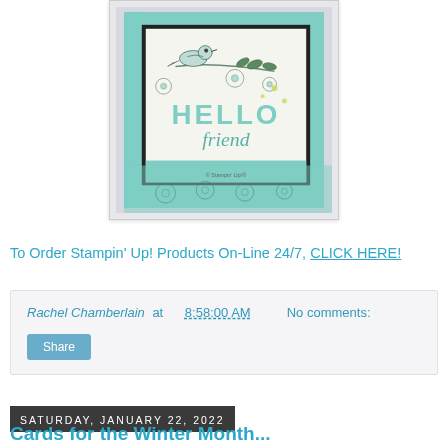[Figure (photo): A handmade greeting card with a mint/teal color scheme featuring a bird on a branch with flowers, text reading 'HELLO friend', black mat, patterned paper borders, and watermark text 'images © Stampin' Up!']
To Order Stampin' Up! Products On-Line 24/7, CLICK HERE!
Rachel Chamberlain at 8:58:00 AM     No comments:
Share
Saturday, January 22, 2022
Cards for the Winter Month...